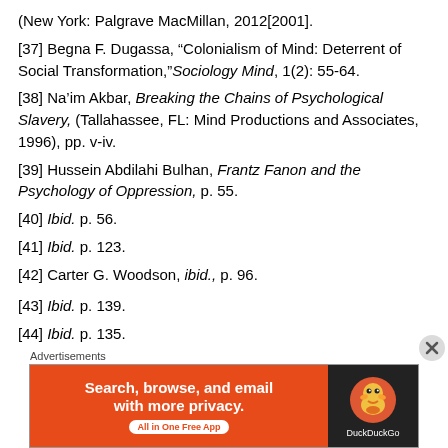(New York: Palgrave MacMillan, 2012[2001].
[37] Begna F. Dugassa, “Colonialism of Mind: Deterrent of Social Transformation,”Sociology Mind, 1(2): 55-64.
[38] Na’im Akbar, Breaking the Chains of Psychological Slavery, (Tallahassee, FL: Mind Productions and Associates, 1996), pp. v-iv.
[39] Hussein Abdilahi Bulhan, Frantz Fanon and the Psychology of Oppression, p. 55.
[40] Ibid. p. 56.
[41] Ibid. p. 123.
[42] Carter G. Woodson, ibid., p. 96.
[43] Ibid. p. 139.
[44] Ibid. p. 135.
[Figure (other): DuckDuckGo advertisement banner: 'Search, browse, and email with more privacy. All in One Free App' with DuckDuckGo logo on dark background.]